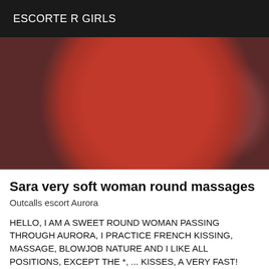ESCORTE R GIRLS
[Figure (photo): Photo showing a person in a red/orange top, cropped and partially obscured]
Sara very soft woman round massages
Outcalls escort Aurora
HELLO, I AM A SWEET ROUND WOMAN PASSING THROUGH AURORA, I PRACTICE FRENCH KISSING, MASSAGE, BLOWJOB NATURE AND I LIKE ALL POSITIONS, EXCEPT THE *, ... KISSES, A VERY FAST!